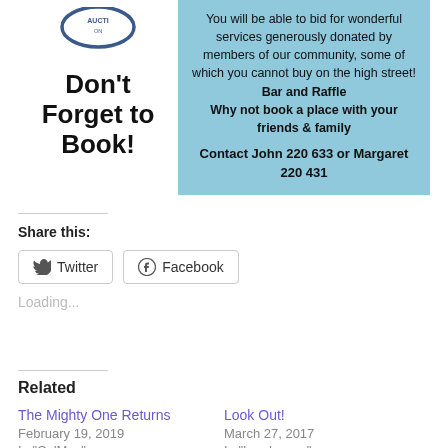[Figure (logo): Partial circular auction logo/stamp at top left]
Don't Forget to Book!
You will be able to bid for wonderful services generously donated by members of our community, some of which you cannot buy on the high street!
Bar and Raffle
Why not book a place with your friends & family

Contact John 220 633 or Margaret 220 431
Share this:
Twitter
Facebook
Loading...
Related
The Mighty One Returns
February 19, 2019
In "CalMac"
Look Out!
March 27, 2017
In "Landscape"
Fife W...